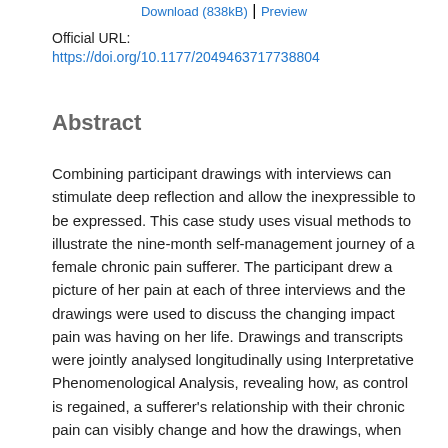Download (838kB) | Preview
Official URL:
https://doi.org/10.1177/2049463717738804
Abstract
Combining participant drawings with interviews can stimulate deep reflection and allow the inexpressible to be expressed. This case study uses visual methods to illustrate the nine-month self-management journey of a female chronic pain sufferer. The participant drew a picture of her pain at each of three interviews and the drawings were used to discuss the changing impact pain was having on her life. Drawings and transcripts were jointly analysed longitudinally using Interpretative Phenomenological Analysis, revealing how, as control is regained, a sufferer's relationship with their chronic pain can visibly change and how the drawings, when